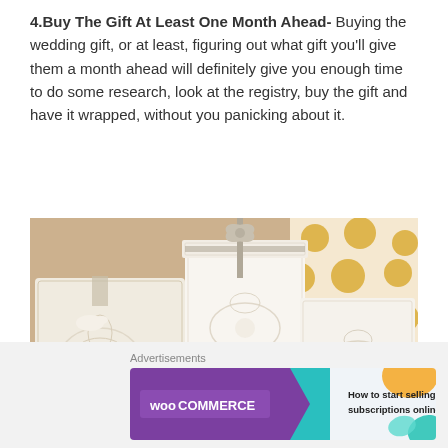4.Buy The Gift At Least One Month Ahead- Buying the wedding gift, or at least, figuring out what gift you'll give them a month ahead will definitely give you enough time to do some research, look at the registry, buy the gift and have it wrapped, without you panicking about it.
[Figure (photo): Photo of elegant white wedding gift boxes with lace detailing and ribbon, arranged on a wooden surface with a gold polka dot gift bag in the background.]
Advertisements
[Figure (screenshot): WooCommerce advertisement banner: purple background with WooCommerce logo on left, teal arrow shape in middle, orange decorative element top right, teal leaf shape bottom right. Text reads: How to start selling subscriptions online]